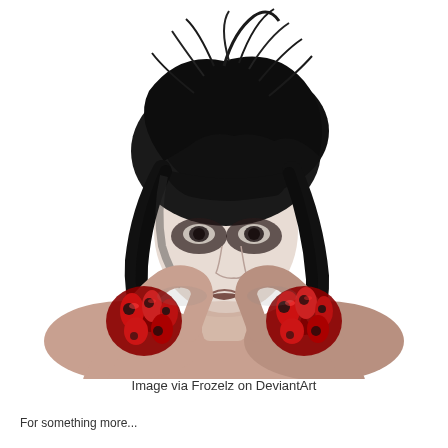[Figure (photo): A pale woman with short dark black hair and heavy dark eye makeup holds both hands up to her face. Her hands are covered in dramatic red and black sculptural elements resembling gore or organic material. She has a pale, intense expression. The background is white.]
Image via Frozelz on DeviantArt
For something more...